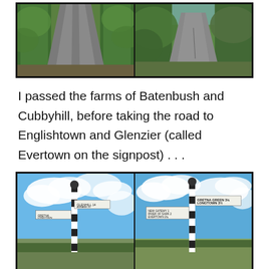[Figure (photo): Two side-by-side photos of narrow country lanes lined with green hedgerows and vegetation, viewed from road level looking ahead.]
I passed the farms of Batenbush and Cubbyhill, before taking the road to Englishtown and Glenzier (called Evertown on the signpost) . . .
[Figure (photo): Two side-by-side photos of a black and white striped signpost in an open countryside setting with blue sky and clouds. The right photo shows signs reading 'GRETNA GREEN 3¾' and 'LONGTOWN 3½'.]